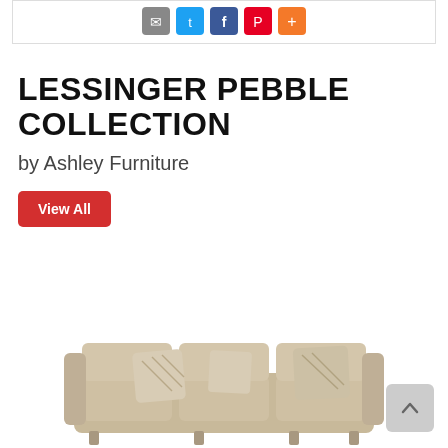[Figure (infographic): Social sharing icon buttons: email (grey), Twitter (blue), Facebook (dark blue), Pinterest (red), More (orange)]
LESSINGER PEBBLE COLLECTION
by Ashley Furniture
View All
[Figure (photo): Beige/tan sofa with decorative pillows from the Lessinger Pebble Collection by Ashley Furniture]